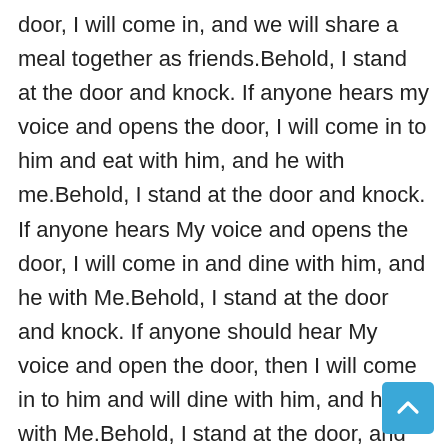door, I will come in, and we will share a meal together as friends.Behold, I stand at the door and knock. If anyone hears my voice and opens the door, I will come in to him and eat with him, and he with me.Behold, I stand at the door and knock. If anyone hears My voice and opens the door, I will come in and dine with him, and he with Me.Behold, I stand at the door and knock. If anyone should hear My voice and open the door, then I will come in to him and will dine with him, and he with Me.Behold, I stand at the door, and knock: if any man hear my voice, and open the door, I will come in to him, and will sup with him, and he with me.Behold, I stand at the door and knock. If anyone hears My voice and opens the door, I will come in to him and dine with him, and he
[Figure (other): A teal/blue scroll-to-top button with an upward-pointing chevron arrow, positioned in the bottom-right corner of the page.]